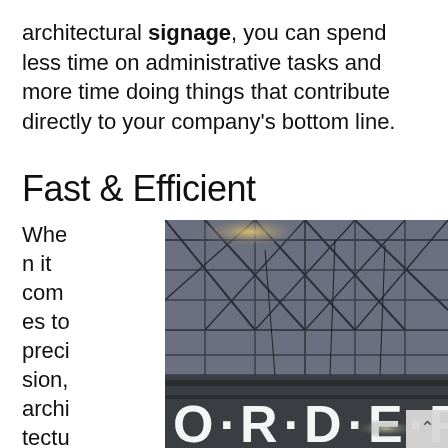architectural signage, you can spend less time on administrative tasks and more time doing things that contribute directly to your company's bottom line.
Fast & Efficient
When it comes to precision, architectural sign...
[Figure (photo): Interior warehouse or large building with steel truss ceiling structure, with large white 3D letters spelling ORDER hanging below, photographed from below looking up.]